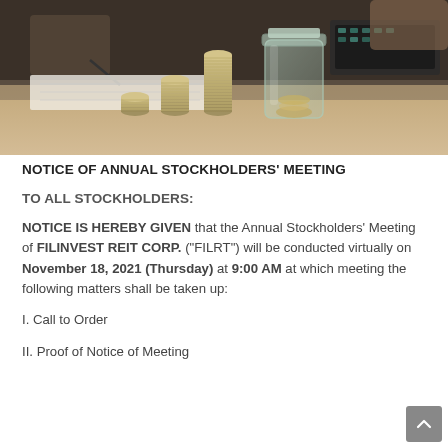[Figure (photo): A photo showing stacks of coins in ascending height order on a table, with a glass jar containing coins, a person writing in the background, and a keyboard/calculator visible. Warm beige/brown tones.]
NOTICE OF ANNUAL STOCKHOLDERS' MEETING
TO ALL STOCKHOLDERS:
NOTICE IS HEREBY GIVEN that the Annual Stockholders' Meeting of FILINVEST REIT CORP. ("FILRT") will be conducted virtually on November 18, 2021 (Thursday) at 9:00 AM at which meeting the following matters shall be taken up:
I. Call to Order
II. Proof of Notice of Meeting